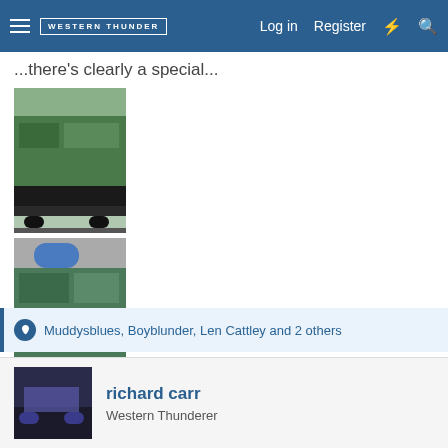WESTERN THUNDER — Log in   Register
...there's clearly a special...
[Figure (photo): Green railway locomotive/train model photograph]
[Figure (photo): Green/blue railway locomotive being serviced or displayed indoors]
Muddysblues, Boyblunder, Len Cattley and 2 others
richard carr
Western Thunderer